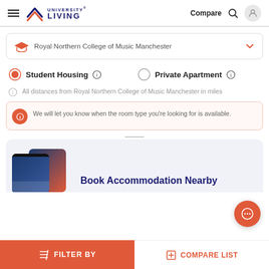[Figure (logo): University Living logo with hamburger menu, search icon, user icon, and Compare text in header]
Royal Northern College of Music Manchester
Student Housing  Private Apartment
All distances from Royal Northern College of Music Manchester in miles
We will let you know when the room type you're looking for is available.
Book Accommodation Nearby
FILTER BY
COMPARE LIST